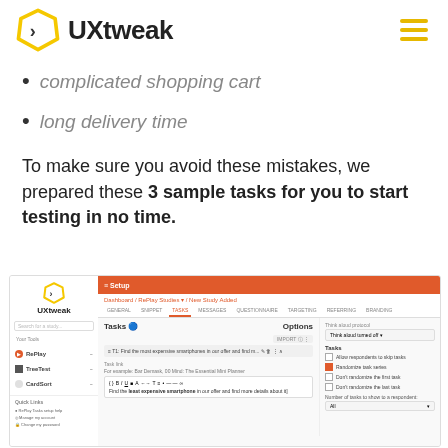UXtweak
complicated shopping cart
long delivery time
To make sure you avoid these mistakes, we prepared these 3 sample tasks for you to start testing in no time.
[Figure (screenshot): Screenshot of UXtweak task study setup interface showing sidebar with RePlay, TreeTest, CardSort options, main panel with Tasks section and task editor, and Options panel on the right with checkboxes for task settings.]